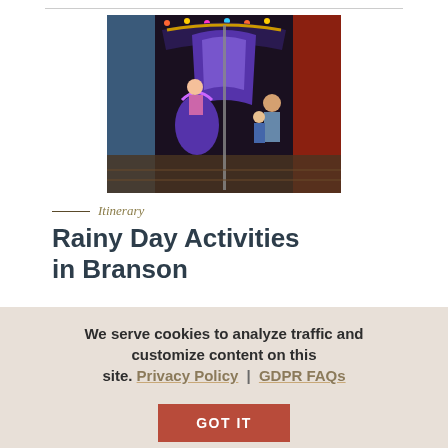[Figure (photo): Indoor carousel scene with a woman posing on a colorful seahorse carousel horse, and a man and child standing nearby, with colorful painted murals in the background.]
Itinerary
Rainy Day Activities in Branson
We serve cookies to analyze traffic and customize content on this site. Privacy Policy | GDPR FAQs
GOT IT